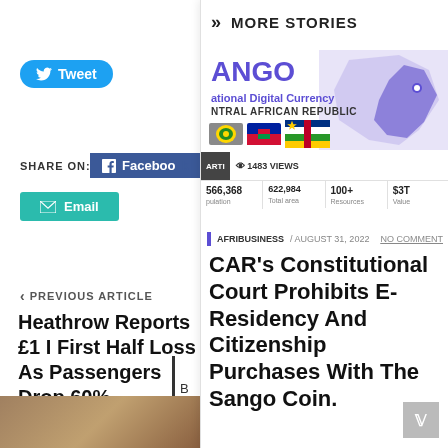[Figure (screenshot): Twitter Tweet button in teal/blue rounded pill style]
SHARE ON:
[Figure (screenshot): Facebook share button in dark blue]
[Figure (screenshot): Email share button in teal/green]
< PREVIOUS ARTICLE
Heathrow Reports £1 I First Half Loss As Passengers Drop 60%
[Figure (screenshot): SANGO - National Digital Currency of Central African Republic infographic with map, flags, and statistics: 566,368 population, 622,984 total area, 100+ resources, $3T value. Views: 1483 views.]
AFRIBUSINESS / AUGUST 31, 2022
NO COMMENT
CAR's Constitutional Court Prohibits E-Residency And Citizenship Purchases With The Sango Coin.
>> MORE STORIES